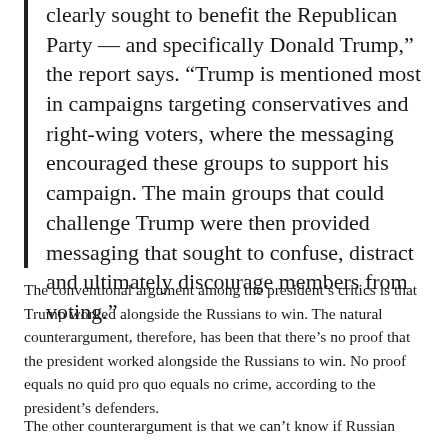clearly sought to benefit the Republican Party — and specifically Donald Trump," the report says. "Trump is mentioned most in campaigns targeting conservatives and right-wing voters, where the messaging encouraged these groups to support his campaign. The main groups that could challenge Trump were then provided messaging that sought to confuse, distract and ultimately discourage members from voting."
The conventional argument among the president's critics is that Trump worked alongside the Russians to win. The natural counterargument, therefore, has been that there's no proof that the president worked alongside the Russians to win. No proof equals no quid pro quo equals no crime, according to the president's defenders.
The other counterargument is that we can't know if Russian